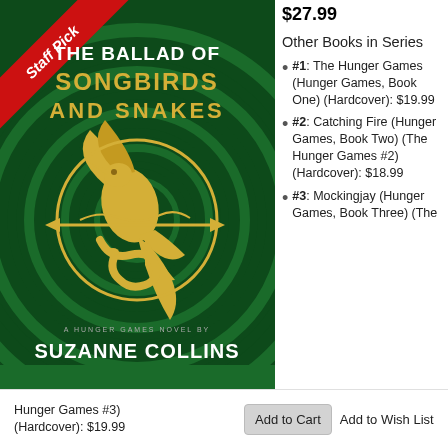[Figure (illustration): Book cover of 'The Ballad of Songbirds and Snakes' — a Hunger Games novel by Suzanne Collins. Dark green background with concentric circles. Central gold mockingjay bird with snake and arrow emblem. Red banner with 'Staff Pick' in white text. Title text in gold/white. Author name SUZANNE COLLINS at bottom.]
$27.99
Other Books in Series
#1: The Hunger Games (Hunger Games, Book One) (Hardcover): $19.99
#2: Catching Fire (Hunger Games, Book Two) (The Hunger Games #2) (Hardcover): $18.99
#3: Mockingjay (Hunger Games, Book Three) (The Hunger Games #3) (Hardcover): $19.99
Add to Cart
Add to Wish List